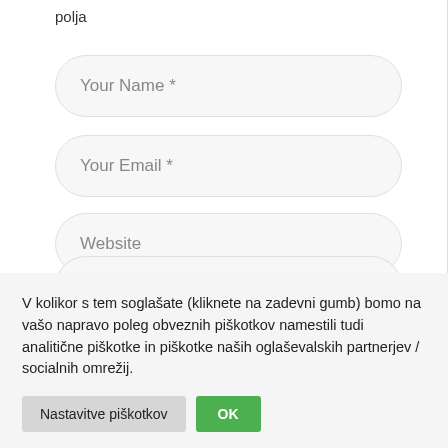polja
Your Name *
Your Email *
Website
V kolikor s tem soglašate (kliknete na zadevni gumb) bomo na vašo napravo poleg obveznih piškotkov namestili tudi analitične piškotke in piškotke naših oglaševalskih partnerjev / socialnih omrežij.
Nastavitve piškotkov
OK